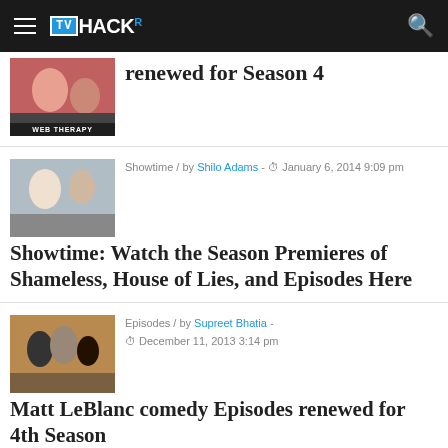TVHACKr
renewed for Season 4
Showtime / by Shilo Adams - January 6, 2014 9:09 pm
Showtime: Watch the Season Premieres of Shameless, House of Lies, and Episodes Here
Episodes / by Supreet Bhatia - December 11, 2013 3:14 pm
Matt LeBlanc comedy Episodes renewed for 4th Season
Showtime / by Shilo Adams -